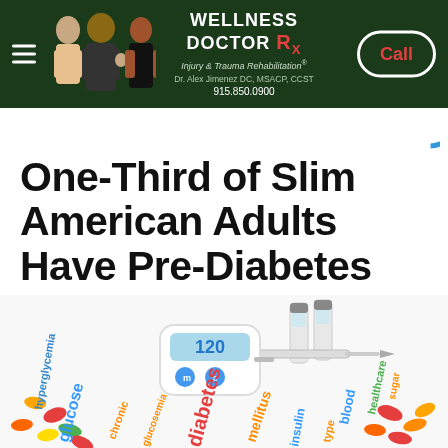WELLNESS DOCTOR Rx — Injury & Trauma Rehabilitation — Dr. Alex Jimenez DC, MSACP, CCST — 915.850.0900 — Call
One-Third of Slim American Adults Have Pre-Diabetes
[Figure (photo): Diabetes medical concept photo showing a blood glucose meter displaying 120, syringes, vials, and colorful pills/capsules arranged around text words related to diabetes (glucose, chronic, hyperglycemia, diabetes mellitus, insulin, blood sugar, healthcare, type) in various colors on a white surface.]